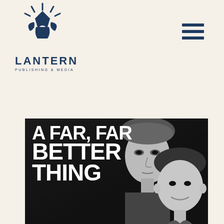[Figure (logo): Lantern Publishing & Media logo — stylized lantern/person figure with rays above, two leaf shapes below, in dark navy blue]
LANTERN
PUBLISHING & MEDIA
[Figure (other): Hamburger menu icon — three horizontal dark navy bars]
[Figure (photo): Book cover for 'A Far, Far Better Thing' — black and white photo of a woman and a young man/boy, bold white text on dark background]